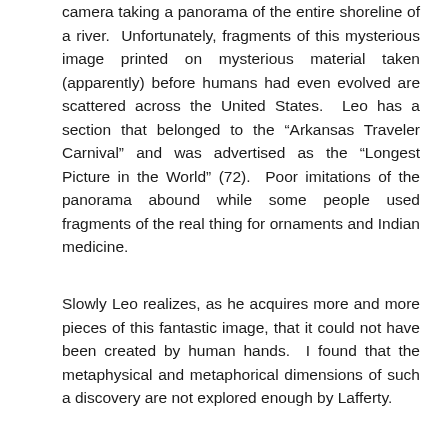camera taking a panorama of the entire shoreline of a river. Unfortunately, fragments of this mysterious image printed on mysterious material taken (apparently) before humans had even evolved are scattered across the United States. Leo has a section that belonged to the “Arkansas Traveler Carnival” and was advertised as the “Longest Picture in the World” (72). Poor imitations of the panorama abound while some people used fragments of the real thing for ornaments and Indian medicine.
Slowly Leo realizes, as he acquires more and more pieces of this fantastic image, that it could not have been created by human hands. I found that the metaphysical and metaphorical dimensions of such a discovery are not explored enough by Lafferty.